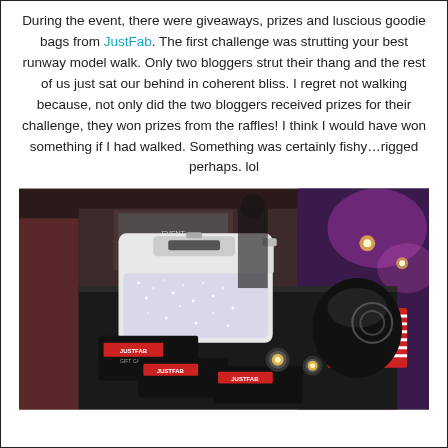During the event, there were giveaways, prizes and luscious goodie bags from JustFab. The first challenge was strutting your best runway model walk. Only two bloggers strut their thang and the rest of us just sat our behind in coherent bliss. I regret not walking because, not only did the two bloggers received prizes for their challenge, they won prizes from the raffles! I think I would have won something if I had walked. Something was certainly fishy…rigged perhaps. lol
[Figure (photo): Photo of a white sparkly clutch handbag on a dark table at an event venue, with candles, JustFab branded materials, and purple ambient lighting in the background.]